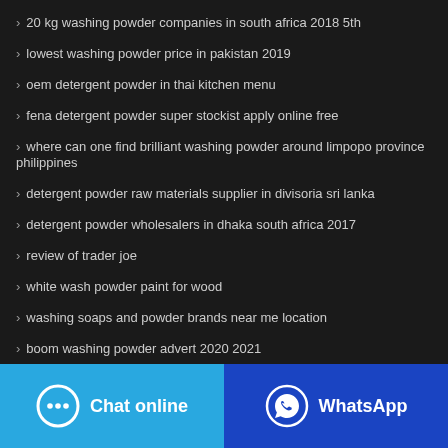20 kg washing powder companies in south africa 2018 5th
lowest washing powder price in pakistan 2019
oem detergent powder in thai kitchen menu
fena detergent powder super stockist apply online free
where can one find brilliant washing powder around limpopo province philippines
detergent powder raw materials supplier in divisoria sri lanka
detergent powder wholesalers in dhaka south africa 2017
review of trader joe
white wash powder paint for wood
washing soaps and powder brands near me location
boom washing powder advert 2020 2021
[Figure (other): Chat online button (blue) and WhatsApp button (dark blue) at the bottom of the page]